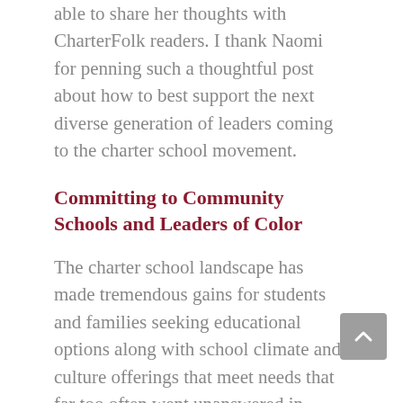able to share her thoughts with CharterFolk readers. I thank Naomi for penning such a thoughtful post about how to best support the next diverse generation of leaders coming to the charter school movement.
Committing to Community Schools and Leaders of Color
The charter school landscape has made tremendous gains for students and families seeking educational options along with school climate and culture offerings that meet needs that far too often went unanswered in traditional systems. The call to action was answered and countless founders sprung into action to create innovative models, with authorizing and